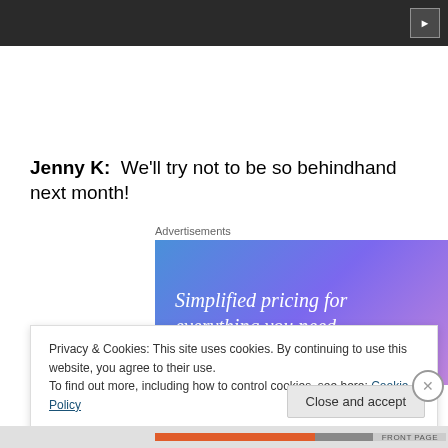[Figure (screenshot): Dark video player thumbnail bar with a play button in the top right corner]
Jenny K:  We'll try not to be so behindhand next month!
Advertisements
[Figure (illustration): Advertisement banner with blue-purple gradient background and white italic text reading 'Simplified pricing for everything you need.']
Privacy & Cookies: This site uses cookies. By continuing to use this website, you agree to their use.
To find out more, including how to control cookies, see here: Cookie Policy
Close and accept